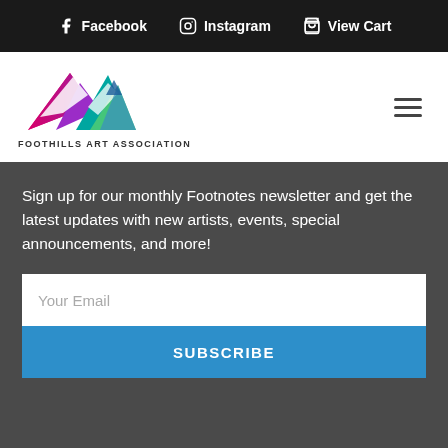Facebook  Instagram  View Cart
[Figure (logo): Foothills Art Association logo with colorful mountain peaks and text 'FOOTHILLS ART ASSOCIATION']
Sign up for our monthly Footnotes newsletter and get the latest updates with new artists, events, special announcements, and more!